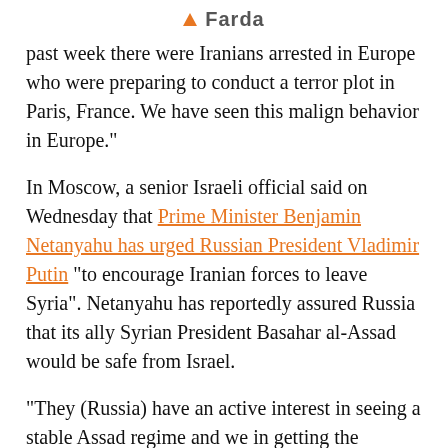Farda
past week there were Iranians arrested in Europe who were preparing to conduct a terror plot in Paris, France. We have seen this malign behavior in Europe."
In Moscow, a senior Israeli official said on Wednesday that Prime Minister Benjamin Netanyahu has urged Russian President Vladimir Putin "to encourage Iranian forces to leave Syria". Netanyahu has reportedly assured Russia that its ally Syrian President Basahar al-Assad would be safe from Israel.
"They (Russia) have an active interest in seeing a stable Assad regime and we in getting the Iranians out. These can clash or it can align," Reuters quoted